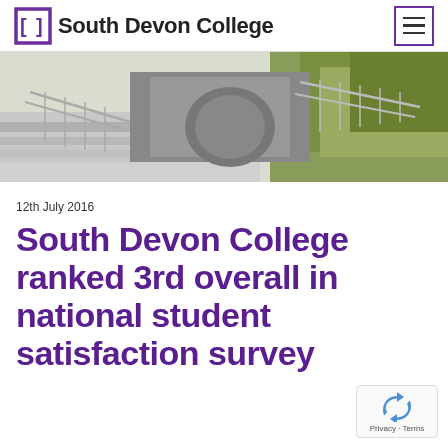South Devon College
[Figure (photo): Exterior photo of South Devon College building entrance with railings, steps and hedges in sunlight]
12th July 2016
South Devon College ranked 3rd overall in national student satisfaction survey